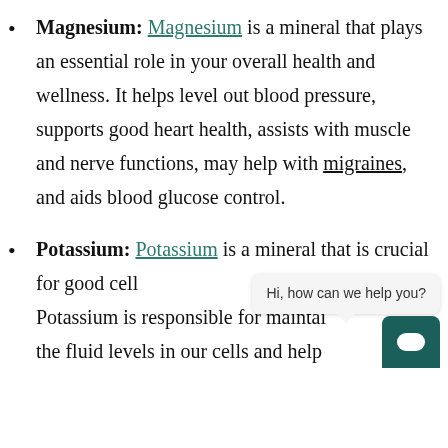Magnesium: Magnesium is a mineral that plays an essential role in your overall health and wellness. It helps level out blood pressure, supports good heart health, assists with muscle and nerve functions, may help with migraines, and aids blood glucose control.
Potassium: Potassium is a mineral that is crucial for good cell... Potassium is responsible for maintaining the fluid levels in our cells and helps...